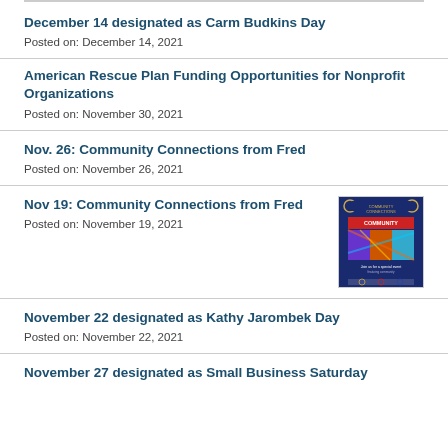December 14 designated as Carm Budkins Day
Posted on: December 14, 2021
American Rescue Plan Funding Opportunities for Nonprofit Organizations
Posted on: November 30, 2021
Nov. 26: Community Connections from Fred
Posted on: November 26, 2021
Nov 19: Community Connections from Fred
Posted on: November 19, 2021
[Figure (illustration): Event poster with dark blue background, colorful abstract image, text about community connections]
November 22 designated as Kathy Jarombek Day
Posted on: November 22, 2021
November 27 designated as Small Business Saturday